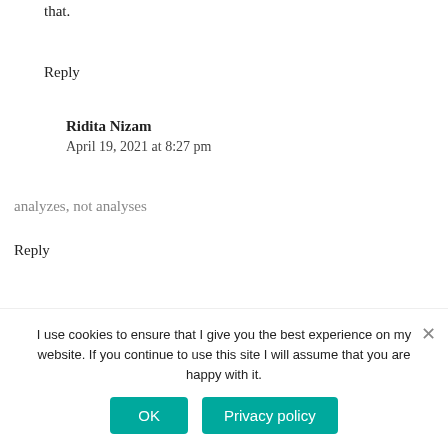that.
Reply
Ridita Nizam
April 19, 2021 at 8:27 pm
analyzes, not analyses
Reply
I use cookies to ensure that I give you the best experience on my website. If you continue to use this site I will assume that you are happy with it.